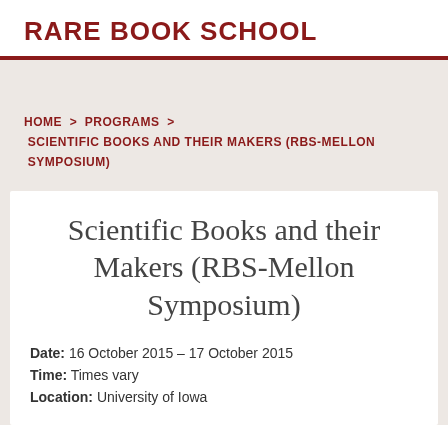RARE BOOK SCHOOL
HOME > PROGRAMS > SCIENTIFIC BOOKS AND THEIR MAKERS (RBS-MELLON SYMPOSIUM)
Scientific Books and their Makers (RBS-Mellon Symposium)
Date: 16 October 2015 – 17 October 2015
Time: Times vary
Location: University of Iowa